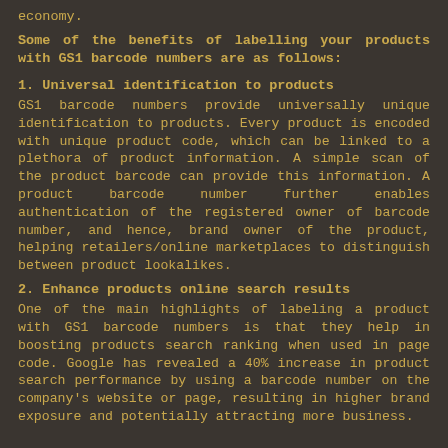economy.
Some of the benefits of labelling your products with GS1 barcode numbers are as follows:
1. Universal identification to products
GS1 barcode numbers provide universally unique identification to products. Every product is encoded with unique product code, which can be linked to a plethora of product information. A simple scan of the product barcode can provide this information. A product barcode number further enables authentication of the registered owner of barcode number, and hence, brand owner of the product, helping retailers/online marketplaces to distinguish between product lookalikes.
2. Enhance products online search results
One of the main highlights of labeling a product with GS1 barcode numbers is that they help in boosting products search ranking when used in page code. Google has revealed a 40% increase in product search performance by using a barcode number on the company's website or page, resulting in higher brand exposure and potentially attracting more business.